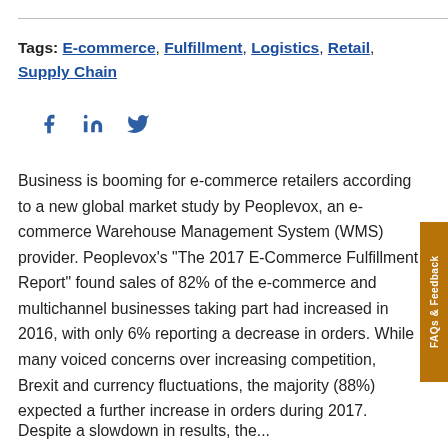Tags: E-commerce, Fulfillment, Logistics, Retail, Supply Chain
[Figure (other): Social media share icons: Facebook, LinkedIn, Twitter]
Business is booming for e-commerce retailers according to a new global market study by Peoplevox, an e-commerce Warehouse Management System (WMS) provider. Peoplevox's "The 2017 E-Commerce Fulfillment Report" found sales of 82% of the e-commerce and multichannel businesses taking part had increased in 2016, with only 6% reporting a decrease in orders. While many voiced concerns over increasing competition, Brexit and currency fluctuations, the majority (88%) expected a further increase in orders during 2017.
Despite a slowdown in results, the...